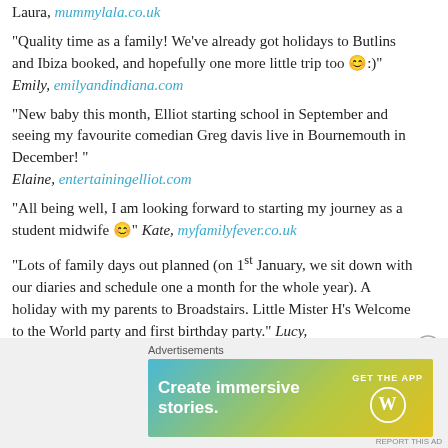Laura, mummylala.co.uk
“Quality time as a family! We’ve already got holidays to Butlins and Ibiza booked, and hopefully one more little trip too 😊:)” Emily, emilyandindiana.com
“New baby this month, Elliot starting school in September and seeing my favourite comedian Greg davis live in Bournemouth in December! ” Elaine, entertainingelliot.com
“All being well, I am looking forward to starting my journey as a student midwife 😊” Kate, myfamilyfever.co.uk
“Lots of family days out planned (on 1st January, we sit down with our diaries and schedule one a month for the whole year). A holiday with my parents to Broadstairs. Little Mister H’s Welcome to the World party and first birthday party.” Lucy, mrshsfavouritethings.com
[Figure (infographic): Advertisement banner for WordPress: 'Create immersive stories. GET THE APP' with WordPress logo]